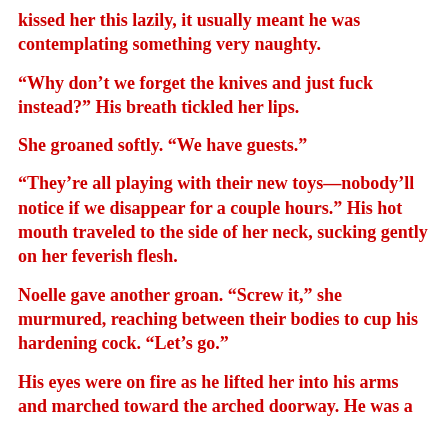kissed her this lazily, it usually meant he was contemplating something very naughty.
“Why don’t we forget the knives and just fuck instead?” His breath tickled her lips.
She groaned softly. “We have guests.”
“They’re all playing with their new toys—nobody’ll notice if we disappear for a couple hours.” His hot mouth traveled to the side of her neck, sucking gently on her feverish flesh.
Noelle gave another groan. “Screw it,” she murmured, reaching between their bodies to cup his hardening cock. “Let’s go.”
His eyes were on fire as he lifted her into his arms and marched toward the arched doorway. He was a